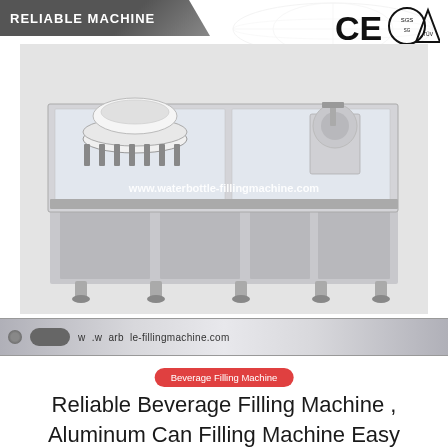RELIABLE MACHINE
[Figure (logo): CE, SGS, TUV certification logos in top right corner]
[Figure (photo): Industrial aluminum can beverage filling machine, stainless steel, enclosed in glass panels, with rotary filling and seaming heads. Watermark: www.waterbottle-fillingmachine.com]
[Figure (screenshot): Browser address bar showing www.waterbottle-fillingmachine.com]
Beverage Filling Machine
Reliable Beverage Filling Machine , Aluminum Can Filling Machine Easy Use